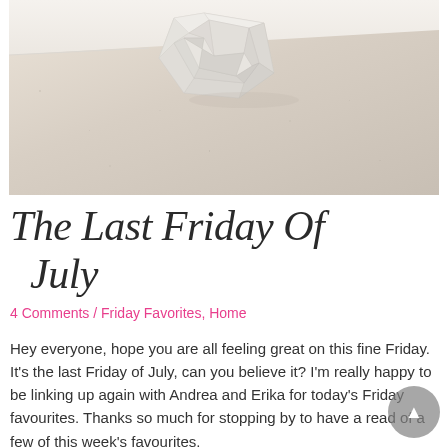[Figure (photo): A white geometric origami or ceramic sculptural object resting on a light beige/grey countertop surface, photographed from above at an angle. The background wall is white.]
The Last Friday Of July
4 Comments / Friday Favorites, Home
Hey everyone, hope you are all feeling great on this fine Friday. It's the last Friday of July, can you believe it? I'm really happy to be linking up again with Andrea and Erika for today's Friday favourites. Thanks so much for stopping by to have a read of a few of this week's favourites.